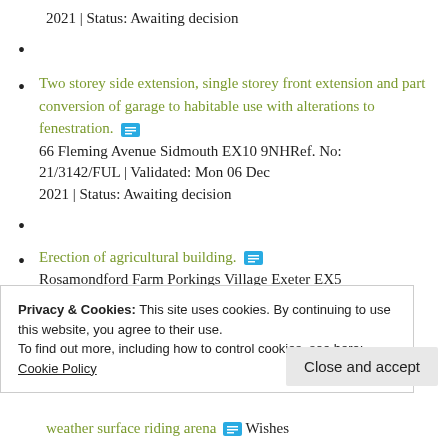2021 | Status: Awaiting decision
Two storey side extension, single storey front extension and part conversion of garage to habitable use with alterations to fenestration.
66 Fleming Avenue Sidmouth EX10 9NHRef. No: 21/3142/FUL | Validated: Mon 06 Dec 2021 | Status: Awaiting decision
Erection of agricultural building.
Rosamondford Farm Porkings Village Exeter EX5
weather surface riding arena Wishes
Privacy & Cookies: This site uses cookies. By continuing to use this website, you agree to their use. To find out more, including how to control cookies, see here: Cookie Policy
Close and accept